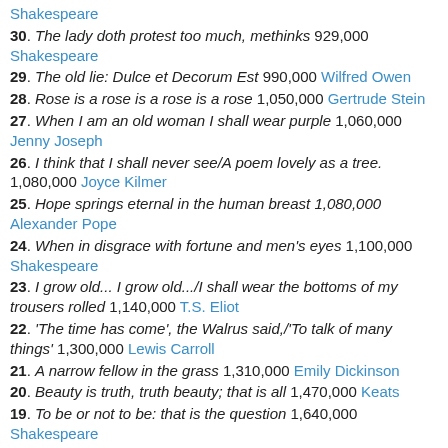Shakespeare
30. The lady doth protest too much, methinks 929,000 Shakespeare
29. The old lie: Dulce et Decorum Est 990,000 Wilfred Owen
28. Rose is a rose is a rose is a rose 1,050,000 Gertrude Stein
27. When I am an old woman I shall wear purple 1,060,000 Jenny Joseph
26. I think that I shall never see/A poem lovely as a tree. 1,080,000 Joyce Kilmer
25. Hope springs eternal in the human breast 1,080,000 Alexander Pope
24. When in disgrace with fortune and men's eyes 1,100,000 Shakespeare
23. I grow old... I grow old.../I shall wear the bottoms of my trousers rolled 1,140,000 T.S. Eliot
22. 'The time has come', the Walrus said,/'To talk of many things' 1,300,000 Lewis Carroll
21. A narrow fellow in the grass 1,310,000 Emily Dickinson
20. Beauty is truth, truth beauty; that is all 1,470,000 Keats
19. To be or not to be: that is the question 1,640,000 Shakespeare